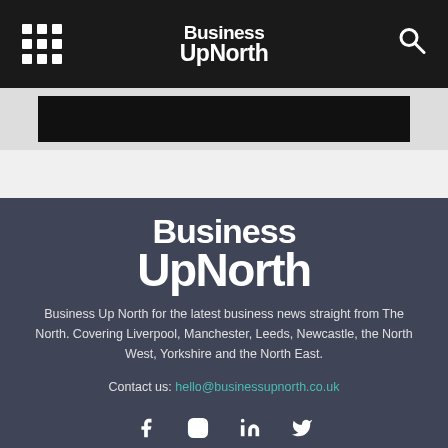Business UpNorth
[Figure (illustration): Dark image strip below nav bar]
[Figure (logo): Business UpNorth logo in white on dark slate background in footer]
Business Up North for the latest business news straight from The North. Covering Liverpool, Manchester, Leeds, Newcastle, the North West, Yorkshire and the North East.
Contact us: hello@businessupnorth.co.uk
[Figure (infographic): Social media icons: Facebook, Instagram, LinkedIn, Twitter]